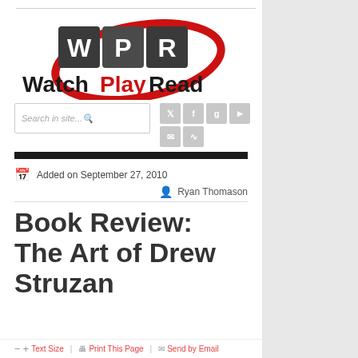[Figure (logo): WatchPlayRead logo with stylized WPR letters in dark grey squares with red swoosh, and 'WatchPlayRead' text below in black and red]
Added on September 27, 2010
Ryan Thomason
Book Review: The Art of Drew Struzan